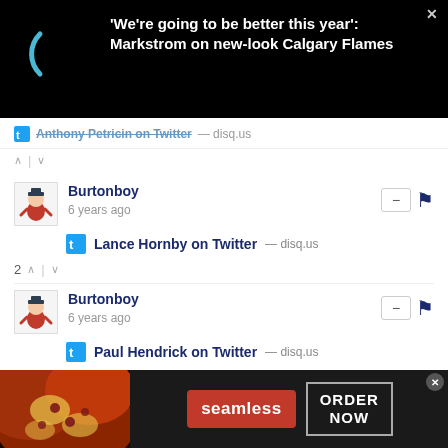'We're going to be better this year': Markstrom on new-look Calgary Flames
Anthony Petricin on Twitter — disq.us
Burtonboy
6 years ago
Lance Hornby on Twitter — disq.us
2 votes
Burtonboy
6 years ago
Paul Hendrick on Twitter — disq.us
[Figure (screenshot): Seamless food delivery advertisement with pizza image, red Seamless logo button, and ORDER NOW button]